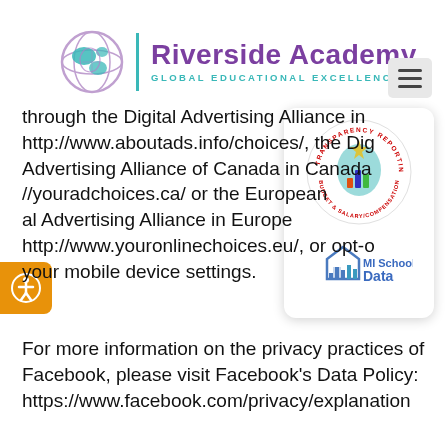[Figure (logo): Riverside Academy logo with globe icon and text 'Riverside Academy - GLOBAL EDUCATIONAL EXCELLENCE']
through the Digital Advertising Alliance in http://www.aboutads.info/choices/, the Digital Advertising Alliance of Canada in Canada //youradchoices.ca/ or the European al Advertising Alliance in Europe http://www.youronlinechoices.eu/, or opt-out your mobile device settings.
[Figure (logo): Transparency Reporting Budget & Salary/Compensation seal/badge logo]
[Figure (logo): MI School Data logo with house/bar chart icon]
For more information on the privacy practices of Facebook, please visit Facebook's Data Policy: https://www.facebook.com/privacy/explanation